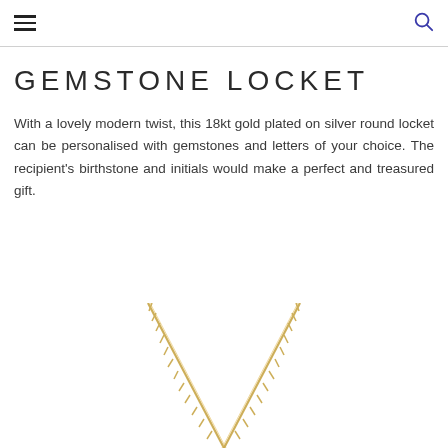Navigation header with hamburger menu and search icon
GEMSTONE LOCKET
With a lovely modern twist, this 18kt gold plated on silver round locket can be personalised with gemstones and letters of your choice. The recipient's birthstone and initials would make a perfect and treasured gift.
[Figure (photo): Gold chain necklace, V-shape chains visible from above, gold colored links on white background, bottom portion of necklace visible]